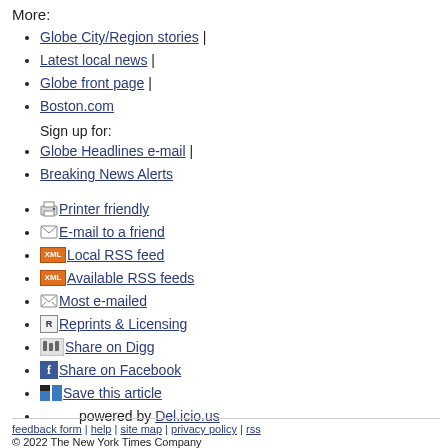More:
Globe City/Region stories |
Latest local news |
Globe front page |
Boston.com
Sign up for:
Globe Headlines e-mail |
Breaking News Alerts
Printer friendly
E-mail to a friend
Local RSS feed
Available RSS feeds
Most e-mailed
Reprints & Licensing
Share on Digg
Share on Facebook
Save this article
powered by Del.icio.us
feedback form | help | site map | privacy policy | rss
© 2022 The New York Times Company